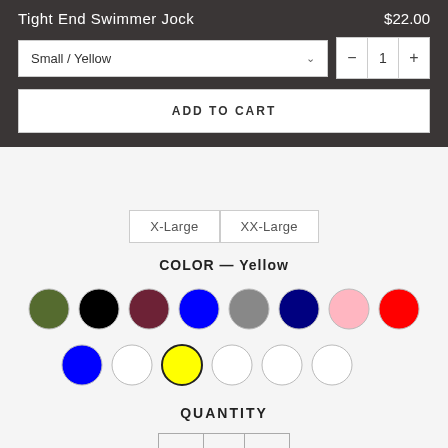Tight End Swimmer Jock
$22.00
Small / Yellow
1
ADD TO CART
X-Large
XX-Large
COLOR — Yellow
QUANTITY
1